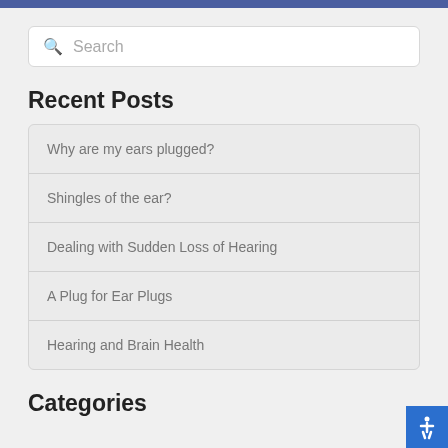Recent Posts
Why are my ears plugged?
Shingles of the ear?
Dealing with Sudden Loss of Hearing
A Plug for Ear Plugs
Hearing and Brain Health
Categories